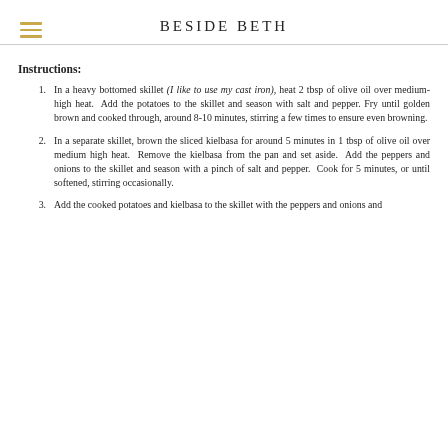BESIDE BETH
Instructions:
In a heavy bottomed skillet (I like to use my cast iron), heat 2 tbsp of olive oil over medium-high heat. Add the potatoes to the skillet and season with salt and pepper. Fry until golden brown and cooked through, around 8-10 minutes, stirring a few times to ensure even browning.
In a separate skillet, brown the sliced kielbasa for around 5 minutes in 1 tbsp of olive oil over medium high heat. Remove the kielbasa from the pan and set aside. Add the peppers and onions to the skillet and season with a pinch of salt and pepper. Cook for 5 minutes, or until softened, stirring occasionally.
Add the cooked potatoes and kielbasa to the skillet with the peppers and onions and